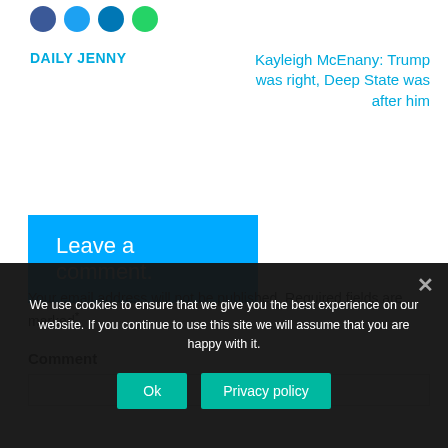[Figure (other): Social media sharing icons: Facebook (blue), Twitter (light blue), LinkedIn (dark blue), WhatsApp (green)]
DAILY JENNY
Kayleigh McEnany: Trump was right, Deep State was after him
Leave a comment.
Your email address will not be published. Required fields are marked*
Comment
We use cookies to ensure that we give you the best experience on our website. If you continue to use this site we will assume that you are happy with it.